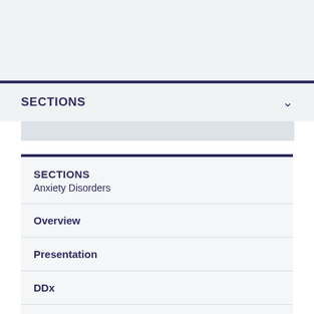SECTIONS
SECTIONS
Anxiety Disorders
Overview
Presentation
DDx
Workup
Approach Considerations